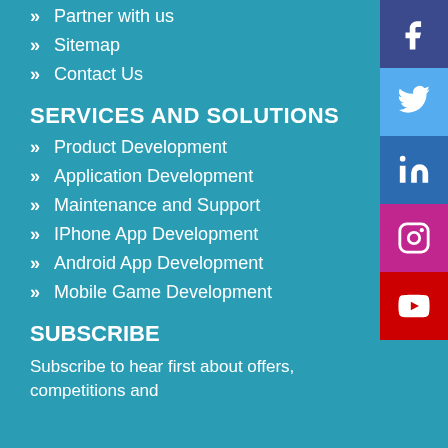» Partner with us
» Sitemap
» Contact Us
SERVICES AND SOLUTIONS
» Product Development
» Application Development
» Maintenance and Support
» IPhone App Development
» Android App Development
» Mobile Game Development
SUBSCRIBE
Subscribe to hear first about offers, competitions and
[Figure (infographic): Social media sidebar icons: Facebook (dark blue/purple), Twitter (light blue), LinkedIn (dark blue), Instagram (magenta/purple), YouTube (red)]